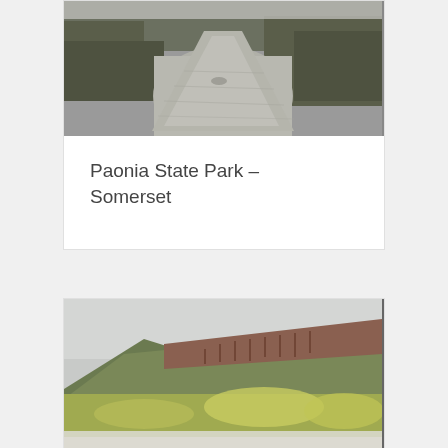[Figure (photo): River or stream with muddy/grey water flowing between banks with shrubs and vegetation, overcast conditions]
Paonia State Park – Somerset
[Figure (photo): Rolling hillside covered with green, yellow, and reddish-brown shrubs and trees, overcast sky, with a snow or light-colored valley below]